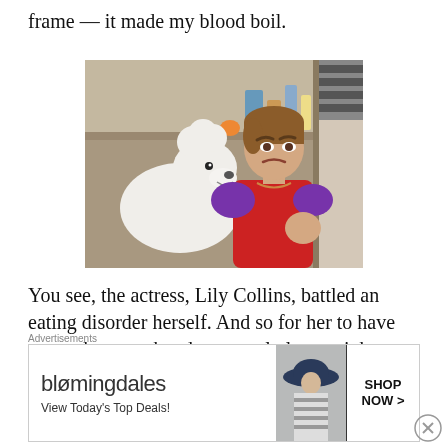frame — it made my blood boil.
[Figure (photo): A young girl with an angry expression wearing a red and purple outfit, standing next to a white poodle in an indoor setting with kitchen shelves in the background.]
You see, the actress, Lily Collins, battled an eating disorder herself. And so for her to have to get down to that dangerously low weight, while
Advertisements
[Figure (other): Bloomingdale's advertisement: 'bloomingdales — View Today's Top Deals!' with a model in a hat and a 'SHOP NOW >' button.]